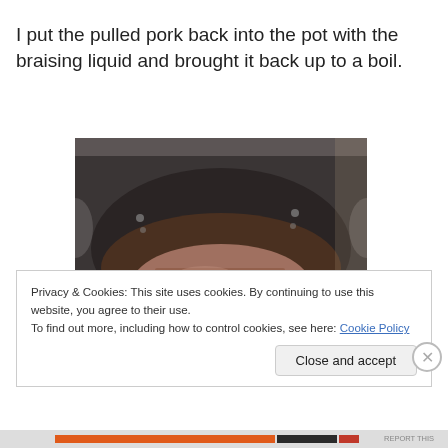I put the pulled pork back into the pot with the braising liquid and brought it back up to a boil.
[Figure (photo): A dark cooking pot seen from above containing shredded pulled pork meat in braising liquid, with visible bubbles or droplets on the sides of the pot.]
Privacy & Cookies: This site uses cookies. By continuing to use this website, you agree to their use.
To find out more, including how to control cookies, see here: Cookie Policy
Close and accept